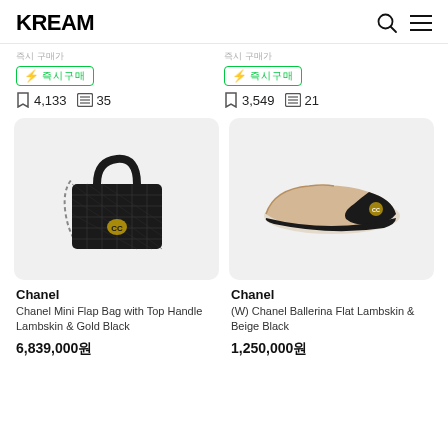KREAM
즉시 구매가
⚡ 즉시구매 4,133 35
즉시 구매가
⚡ 즉시구매 3,549 21
[Figure (photo): Chanel Mini Flap Bag with Top Handle Lambskin & Gold Black - black quilted leather bag with chain strap]
Chanel
Chanel Mini Flap Bag with Top Handle Lambskin & Gold Black
6,839,000원
[Figure (photo): (W) Chanel Ballerina Flat Lambskin & Beige Black - beige and black toe cap ballet flat shoe]
Chanel
(W) Chanel Ballerina Flat Lambskin & Beige Black
1,250,000원